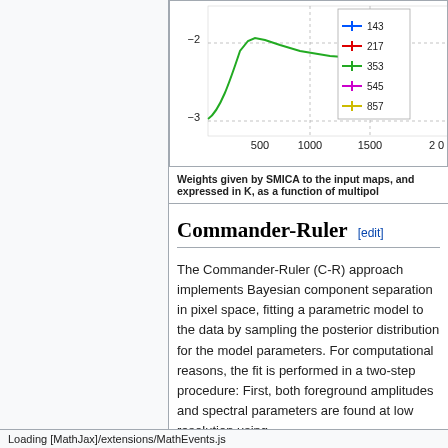[Figure (continuous-plot): Line chart showing weights given by SMICA to input maps as a function of multipole. Multiple colored lines for different values (143, 217, 353, 545, 857). Y-axis shows values around -2 to -3, x-axis shows values 500 to 2000+.]
Weights given by SMICA to the input maps, and expressed in K, as a function of multipole
Commander-Ruler
The Commander-Ruler (C-R) approach implements Bayesian component separation in pixel space, fitting a parametric model to the data by sampling the posterior distribution for the model parameters. For computational reasons, the fit is performed in a two-step procedure: First, both foreground amplitudes and spectral parameters are found at low resolution using
Loading [MathJax]/extensions/MathEvents.js